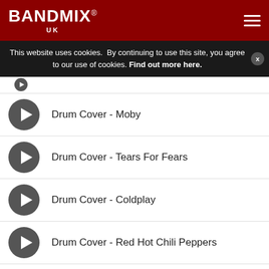BANDMIX® UK
This website uses cookies. By continuing to use this site, you agree to our use of cookies. Find out more here.
Drum Cover - Moby
Drum Cover - Tears For Fears
Drum Cover - Coldplay
Drum Cover - Red Hot Chili Peppers
Drum Cover - Linkin Park
Drum Cover - Gorillaz